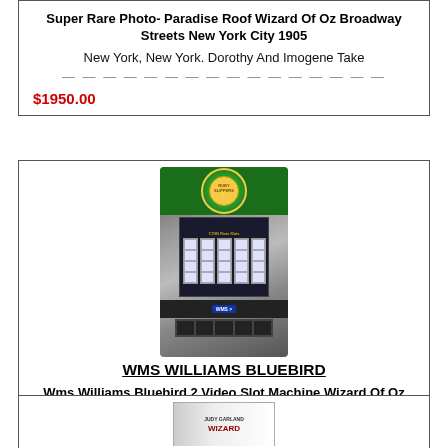Super Rare Photo- Paradise Roof Wizard Of Oz Broadway Streets New York City 1905
New York, New York. Dorothy And Imogene Take
$1950.00
[Figure (photo): WMS Williams Bluebird 2 video slot machine with Wizard of Oz Ruby Slippers theme, showing green top panel with circular logo and video game screen]
WMS WILLIAMS BLUEBIRD
Wms Williams Bluebird 2 Video Slot Machine Wizard Of Oz Ruby Slippers
Photo Is Stock Image. Machine May Vary In Cabinet
$1999.00
[Figure (photo): Partial view of a third listing item showing a book or album cover at the bottom of the page]